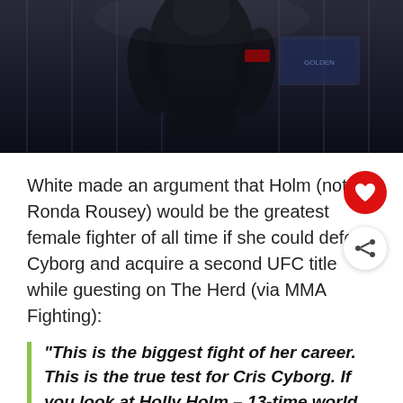[Figure (photo): Photo of a female UFC fighter (Holly Holm) in fighting stance inside the octagon cage, wearing black shorts and Reebok gear, dark background with cage visible]
White made an argument that Holm (not Ronda Rousey) would be the greatest female fighter of all time if she could defeat Cyborg and acquire a second UFC title while guesting on The Herd (via MMA Fighting):
“This is the biggest fight of her career. This is the true test for Cris Cyborg. If you look at Holly Holm – 13-time world boxing champ, multiple time kickboxing champion, beat Ronda Rousey and won the UFC title. Now Holm is moving up to 145 pounds and she’s actually a real 145-pounder – she’s tall